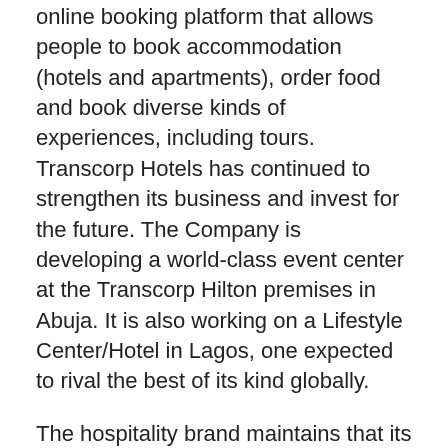online booking platform that allows people to book accommodation (hotels and apartments), order food and book diverse kinds of experiences, including tours. Transcorp Hotels has continued to strengthen its business and invest for the future. The Company is developing a world-class event center at the Transcorp Hilton premises in Abuja. It is also working on a Lifestyle Center/Hotel in Lagos, one expected to rival the best of its kind globally.
The hospitality brand maintains that its activities are in furtherance of its mission to redefine hospitality standards in Africa through innovation and exceptional service, creating value for its customers and other stakeholders.
Transcorp Hotels Plc has proposed a final dividend of 7 Kobo per share, subject to appropriate